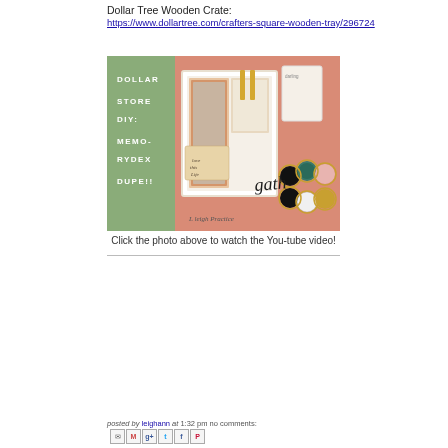Dollar Tree Wooden Crate:
https://www.dollartree.com/crafters-square-wooden-tray/296724
[Figure (photo): Craft photo showing a Dollar Store DIY Memorydex Dupe — a white wooden tray/crate filled with colorful patterned cards, tags, ribbons and embellishments on a salmon/peach patterned background, with craft charms and stickers on the right side. Green panel on left reads DOLLAR STORE DIY: MEMORYDEX DUPE!!]
Click the photo above to watch the You-tube video!
posted by leighann at 1:32 pm no comments: